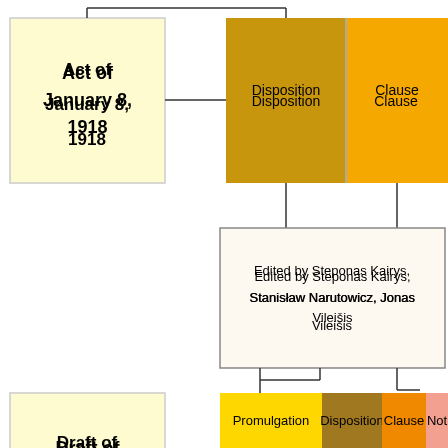[Figure (flowchart): Flowchart showing two document versions: 'Act of January 8, 1918' and 'Draft of February 1, 1918', each connected to colored segment bars (Promulgation, Disposition, Clause, Notes) and annotation boxes describing editors. The Act connects to Disposition and Clause segments and an 'Edited by Steponas Kairys, Stanisław Narutowicz, Jonas Vileišis' box. The Draft connects to Promulgation, Disposition, Clause, and Note segments and an 'Edited by the Council and four with members' box.]